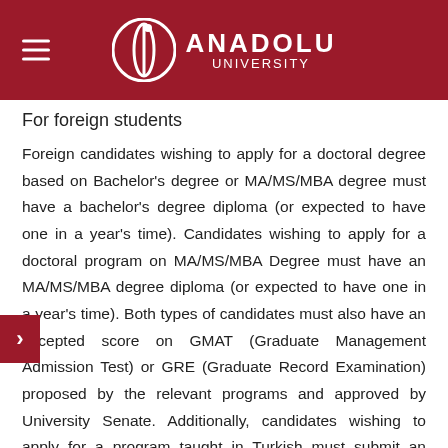ANADOLU UNIVERSITY
For foreign students
Foreign candidates wishing to apply for a doctoral degree based on Bachelor's degree or MA/MS/MBA degree must have a bachelor's degree diploma (or expected to have one in a year's time). Candidates wishing to apply for a doctoral program on MA/MS/MBA Degree must have an MA/MS/MBA degree diploma (or expected to have one in a year's time). Both types of candidates must also have an accepted score on GMAT (Graduate Management Admission Test) or GRE (Graduate Record Examination) proposed by the relevant programs and approved by University Senate. Additionally, candidates wishing to apply for a program taught in Turkish must submit an evidence of their Turkish language proficiency by a TÖMER